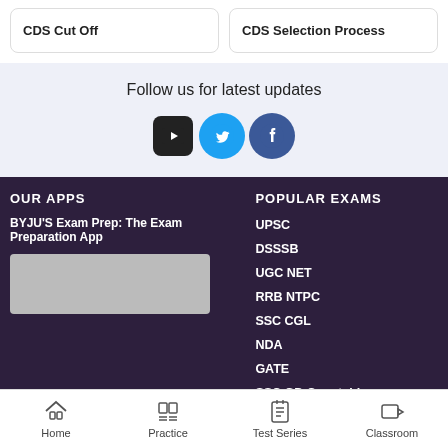CDS Cut Off
CDS Selection Process
Follow us for latest updates
[Figure (infographic): Social media icons: YouTube, Twitter, Facebook]
OUR APPS
BYJU'S Exam Prep: The Exam Preparation App
[Figure (screenshot): App image placeholder (grey rectangle)]
POPULAR EXAMS
UPSC
DSSSB
UGC NET
RRB NTPC
SSC CGL
NDA
GATE
SSC GD Constable
CDS
Home  Practice  Test Series  Classroom